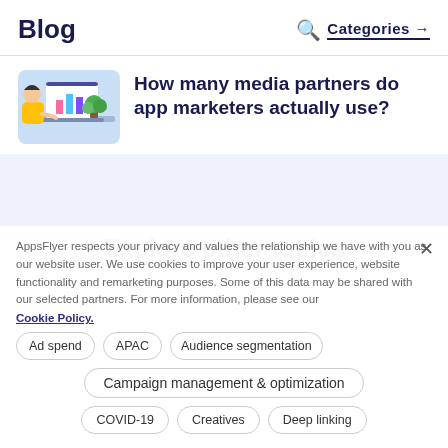Blog   Categories →
How many media partners do app marketers actually use?
[Figure (illustration): Illustration of a person in yellow shirt working on a laptop with colorful charts on screen and a green plant beside them]
Explore other topics
AppsFlyer respects your privacy and values the relationship we have with you as our website user. We use cookies to improve your user experience, website functionality and remarketing purposes. Some of this data may be shared with our selected partners. For more information, please see our
Cookie Policy.
Ad spend
APAC
Audience segmentation
Campaign management & optimization
COVID-19
Creatives
Deep linking